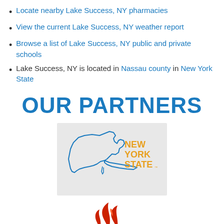Locate nearby Lake Success, NY pharmacies
View the current Lake Success, NY weather report
Browse a list of Lake Success, NY public and private schools
Lake Success, NY is located in Nassau county in New York State
OUR PARTNERS
[Figure (logo): New York State logo: outline map of New York State in blue with 'NEW YORK STATE' text in orange/gold]
[Figure (logo): Partially visible logo with red flame/torch element at bottom of page]